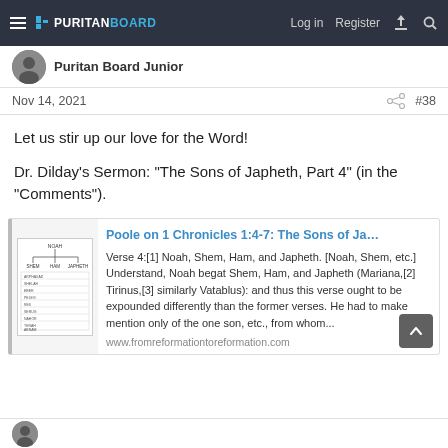PURITAN BOARD — Log in  Register
Puritan Board Junior
Nov 14, 2021  #38
Let us stir up our love for the Word!
Dr. Dilday's Sermon: "The Sons of Japheth, Part 4" (in the "Comments").
[Figure (screenshot): Link card preview for 'Poole on 1 Chronicles 1:4-7: The Sons of Ja...' with thumbnail image of a genealogy chart and text excerpt beginning 'Verse 4:[1] Noah, Shem, Ham, and Japheth...' from www.fromreformationtoreformation.com]